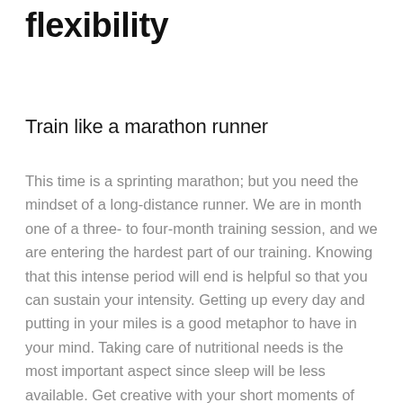flexibility
Train like a marathon runner
This time is a sprinting marathon; but you need the mindset of a long-distance runner. We are in month one of a three- to four-month training session, and we are entering the hardest part of our training. Knowing that this intense period will end is helpful so that you can sustain your intensity. Getting up every day and putting in your miles is a good metaphor to have in your mind. Taking care of nutritional needs is the most important aspect since sleep will be less available. Get creative with your short moments of recovery to ensure you still get the necessary amount to stay both focused and creative.